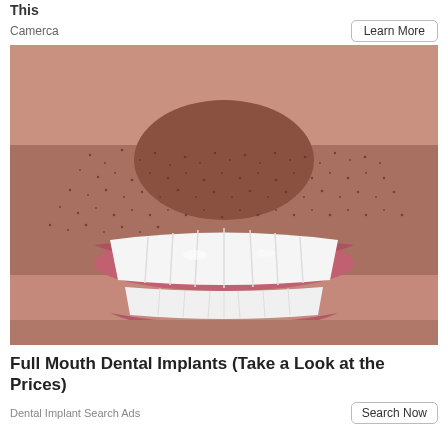This
Camerca
Learn More
[Figure (photo): Close-up photo of a man's mouth showing a bright white full dental implant smile with stubble beard visible]
Full Mouth Dental Implants (Take a Look at the Prices)
Search Now